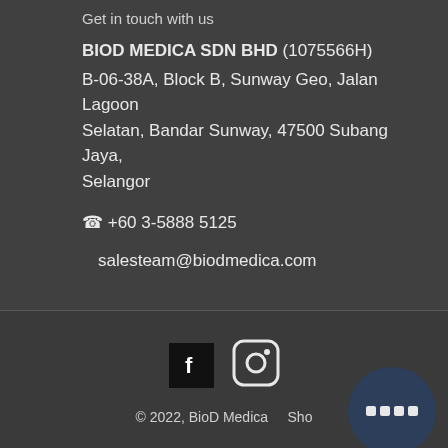Get in touch with us
BIOD MEDICA SDN BHD (1075566H)
B-06-38A, Block B, Sunway Geo, Jalan Lagoon Selatan, Bandar Sunway, 47500 Subang Jaya, Selangor
☎ +60 3-5888 5125
salesteam@biodmedica.com
[Figure (logo): Facebook icon (black square with white F) and Instagram icon (rounded square outline with camera icon)]
© 2022, BioD Medica    Sho...